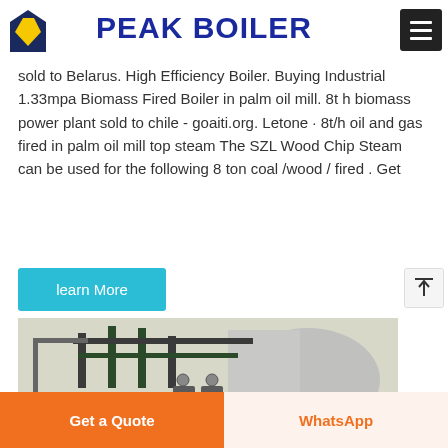Peak Boiler – navigation bar with logo and hamburger menu
sold to Belarus. High Efficiency Boiler. Buying Industrial 1.33mpa Biomass Fired Boiler in palm oil mill. 8t h biomass power plant sold to chile - goaiti.org. Letone · 8t/h oil and gas fired in palm oil mill top steam The SZL Wood Chip Steam can be used for the following 8 ton coal /wood / fired . Get
learn More
[Figure (photo): Industrial boiler room with large horizontal cylindrical boiler, green-painted pipes, pressure gauges, and pump units installed in a white-walled facility.]
Get a Quote | WhatsApp